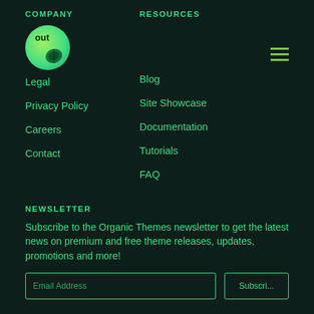COMPANY
[Figure (logo): Organic Themes green circular logo with a leaf icon and the text 'out' visible]
About
Legal
Privacy Policy
Careers
Contact
RESOURCES
Blog
Site Showcase
Documentation
Tutorials
FAQ
NEWSLETTER
Subscribe to the Organic Themes newsletter to get the latest news on premium and free theme releases, updates, promotions and more!